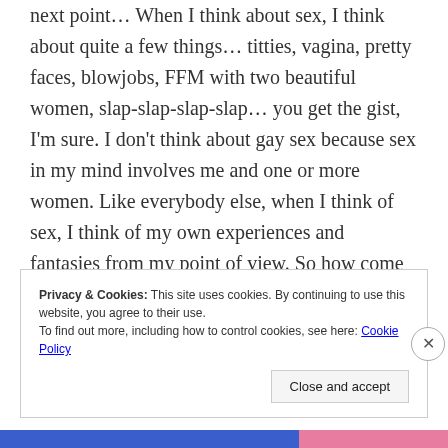next point… When I think about sex, I think about quite a few things… titties, vagina, pretty faces, blowjobs, FFM with two beautiful women, slap-slap-slap-slap… you get the gist, I'm sure. I don't think about gay sex because sex in my mind involves me and one or more women. Like everybody else, when I think of sex, I think of my own experiences and fantasies from my point of view. So how come homophobes spend so much time thinking of gay sex? You know the answer, don't you?
Privacy & Cookies: This site uses cookies. By continuing to use this website, you agree to their use.
To find out more, including how to control cookies, see here: Cookie Policy
Close and accept